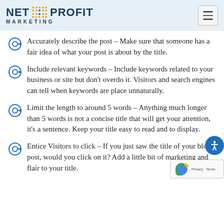NET PROFIT MARKETING
Accurately describe the post – Make sure that someone has a fair idea of what your post is about by the title.
Include relevant keywords – Include keywords related to your business or site but don't overdo it. Visitors and search engines can tell when keywords are place unnaturally.
Limit the length to around 5 words – Anything much longer than 5 words is not a concise title that will get your attention, it's a sentence. Keep your title easy to read and to display.
Entice Visitors to click – If you just saw the title of your blog post, would you click on it? Add a little bit of marketing and flair to your title.